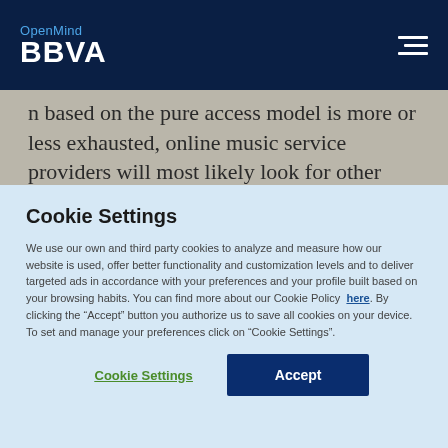OpenMind BBVA
n based on the pure access model is more or less exhausted, online music service providers will most likely look for other ways to differentiate their services and to keep up their profitability. One way of doing this is to develop a ll...
Cookie Settings
We use our own and third party cookies to analyze and measure how our website is used, offer better functionality and customization levels and to deliver targeted ads in accordance with your preferences and your profile built based on your browsing habits. You can find more about our Cookie Policy here. By clicking the "Accept" button you authorize us to save all cookies on your device. To set and manage your preferences click on "Cookie Settings".
Cookie Settings | Accept